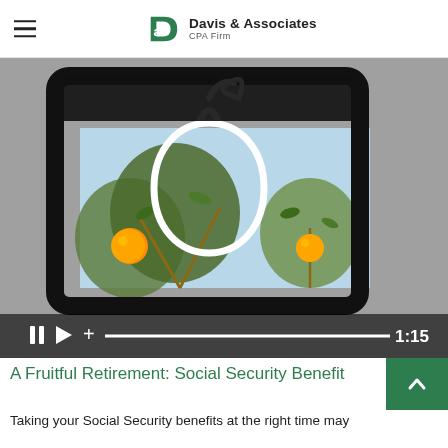Davis & Associates CPA Firm
[Figure (screenshot): Video thumbnail showing a hand holding a tablet with an image of an orange tree and a white apple-shaped play icon overlay. Video controls show pause, play, plus, progress bar, and timestamp 1:15.]
A Fruitful Retirement: Social Security Benefit
Taking your Social Security benefits at the right time may